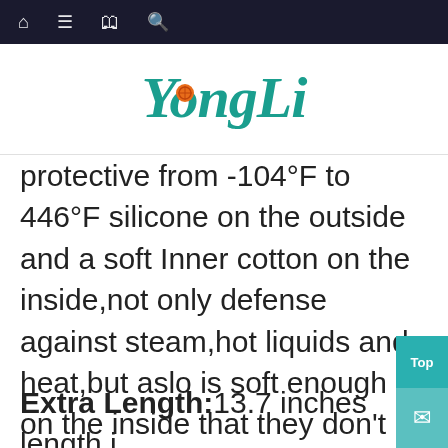Navigation bar with home, menu, book, and search icons
[Figure (logo): YongLi brand logo in teal cursive script with orange circle accent on the 'o']
protective from -104°F to 446°F silicone on the outside and a soft Inner cotton on the inside,not only defense against steam,hot liquids and heat,but aslo is soft enough on the inside that they don't rub.Also A perfect balance of protection and comfort.
Extra Length:13.7 inches length i enough to protect your finge